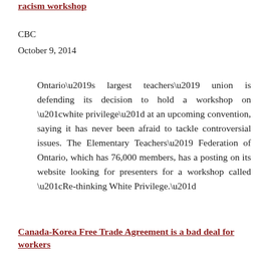racism workshop
CBC
October 9, 2014
Ontario’s largest teachers’ union is defending its decision to hold a workshop on “white privilege” at an upcoming convention, saying it has never been afraid to tackle controversial issues. The Elementary Teachers’ Federation of Ontario, which has 76,000 members, has a posting on its website looking for presenters for a workshop called “Re-thinking White Privilege.”
Canada-Korea Free Trade Agreement is a bad deal for workers